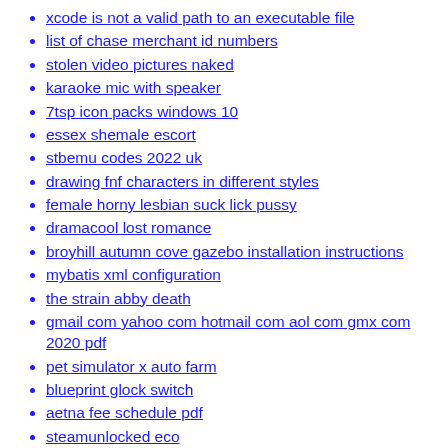xcode is not a valid path to an executable file
list of chase merchant id numbers
stolen video pictures naked
karaoke mic with speaker
7tsp icon packs windows 10
essex shemale escort
stbemu codes 2022 uk
drawing fnf characters in different styles
female horny lesbian suck lick pussy
dramacool lost romance
broyhill autumn cove gazebo installation instructions
mybatis xml configuration
the strain abby death
gmail com yahoo com hotmail com aol com gmx com 2020 pdf
pet simulator x auto farm
blueprint glock switch
aetna fee schedule pdf
steamunlocked eco
denafrips ares ii alternative
sploop io script
bitlocker windows 10 download
bbc chinese news
annoy script roblox pastebin
openwrt bbr